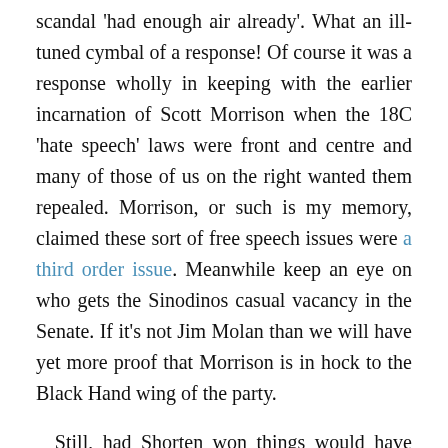scandal 'had enough air already'. What an ill-tuned cymbal of a response! Of course it was a response wholly in keeping with the earlier incarnation of Scott Morrison when the 18C 'hate speech' laws were front and centre and many of those of us on the right wanted them repealed. Morrison, or such is my memory, claimed these sort of free speech issues were a third order issue. Meanwhile keep an eye on who gets the Sinodinos casual vacancy in the Senate. If it's not Jim Molan than we will have yet more proof that Morrison is in hock to the Black Hand wing of the party.

Still, had Shorten won things would have been a lot, lot worse. So there is that. And so in keeping with that muted sort of optimism let me take you on a